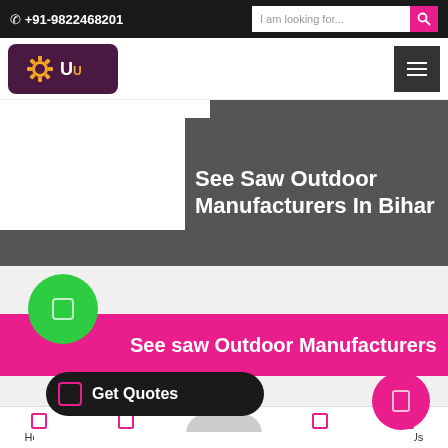☎ +91-9822468201  |  I am looking for...
[Figure (logo): Company logo with gear icon on dark purple background]
See Saw Outdoor Manufacturers In Bihar
See saw Outdoor Manufacturers
Get Quotes
Home  About Us  Our Range  Contact  Call Us